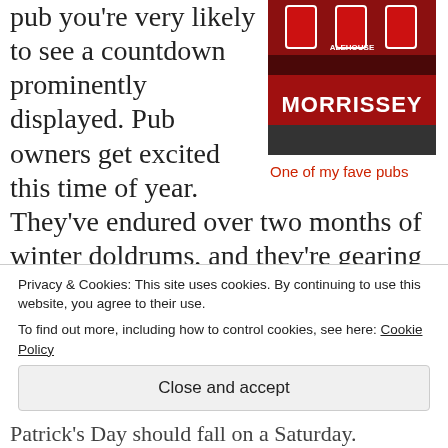pub you're very likely to see a countdown prominently displayed. Pub owners get excited this time of year.
[Figure (photo): Photo of a pub sign reading 'MORRISSEY' on a red storefront, part of what appears to be 'Alehouse' above.]
One of my fave pubs
They've endured over two months of winter doldrums, and they're gearing up for the quintessential party that will bring in bar patrons and trigger them to start spending
Privacy & Cookies: This site uses cookies. By continuing to use this website, you agree to their use.
To find out more, including how to control cookies, see here: Cookie Policy
Close and accept
Patrick's Day should fall on a Saturday.